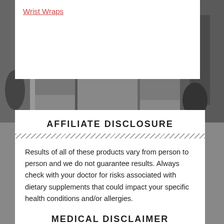Wrist Wraps
AFFILIATE DISCLOSURE
Results of all of these products vary from person to person and we do not guarantee results. Always check with your doctor for risks associated with dietary supplements that could impact your specific health conditions and/or allergies.
Disclosure: We are compensated for our reviews Click Here for details.
MEDICAL DISCLAIMER